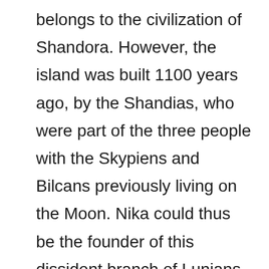belongs to the civilization of Shandora. However, the island was built 1100 years ago, by the Shandias, who were part of the three people with the Skypiens and Bilcans previously living on the Moon. Nika could thus be the founder of this dissident branch of Lunians wishing to settle on earth and not in heaven, a decision motivated by his taste for freedom. It is this same inclination which would have pushed him over the Grand Line of f...